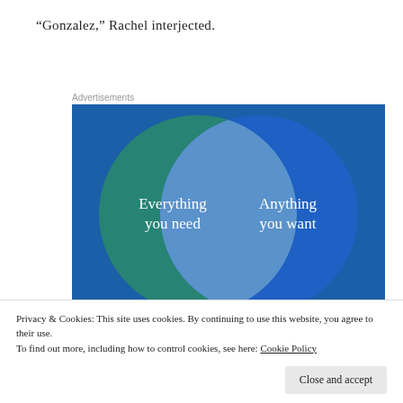“Gonzalez,” Rachel interjected.
Advertisements
[Figure (infographic): Venn diagram on dark blue background with two overlapping circles: left circle is teal/green with text 'Everything you need', right circle is blue with text 'Anything you want'. The overlapping region is a lighter blue-grey lens shape.]
Privacy & Cookies: This site uses cookies. By continuing to use this website, you agree to their use.
To find out more, including how to control cookies, see here: Cookie Policy
Close and accept